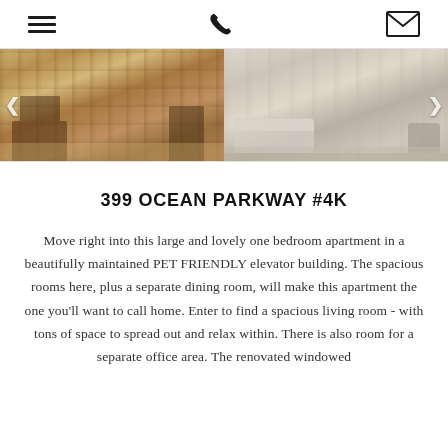[hamburger menu icon] [phone icon] [email icon]
[Figure (photo): Two interior apartment photos side by side showing a home office/study area with wooden furniture on the left, and a living room with light-colored sofa and hardwood floors on the right. Navigation arrows visible on sides.]
399 OCEAN PARKWAY #4K
Move right into this large and lovely one bedroom apartment in a beautifully maintained PET FRIENDLY elevator building. The spacious rooms here, plus a separate dining room, will make this apartment the one you'll want to call home. Enter to find a spacious living room - with tons of space to spread out and relax within. There is also room for a separate office area. The renovated windowed